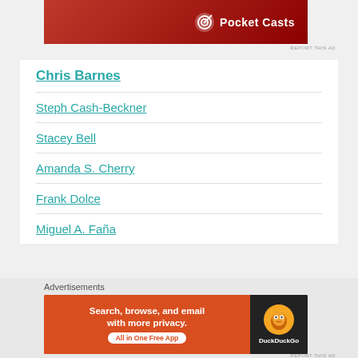[Figure (screenshot): Pocket Casts advertisement banner with red background and white Pocket Casts logo]
REPORT THIS AD
Chris Barnes
Steph Cash-Beckner
Stacey Bell
Amanda S. Cherry
Frank Dolce
Miguel A. Faña
Advertisements
[Figure (screenshot): DuckDuckGo advertisement: Search, browse, and email with more privacy. All in One Free App]